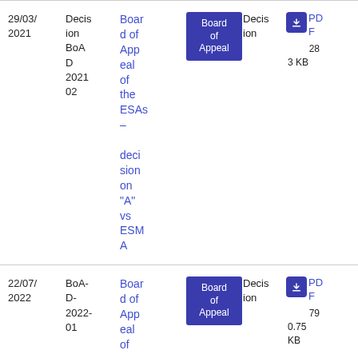| Date | Reference | Title | Category | Type | File |
| --- | --- | --- | --- | --- | --- |
| 29/03/2021 | Decision BoAD 202102 | Board of Appeal of the ESAs - decision "A" vs ESMA | Board of Appeal | Decision | PDF 283 KB |
| 22/07/2022 | BoA-D-2022-01 | Board of Appeal... | Board of Appeal | Decision | PDF 790.75 KB |